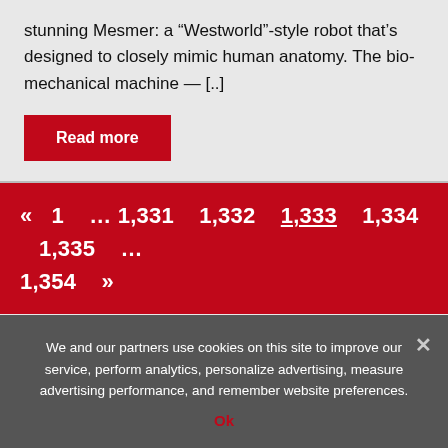stunning Mesmer: a “Westworld”-style robot that’s designed to closely mimic human anatomy. The bio-mechanical machine — [..]
Read more
«  1  … 1,331  1,332  1,333  1,334  1,335  …  1,354  »
Search ...
We and our partners use cookies on this site to improve our service, perform analytics, personalize advertising, measure advertising performance, and remember website preferences.
Ok